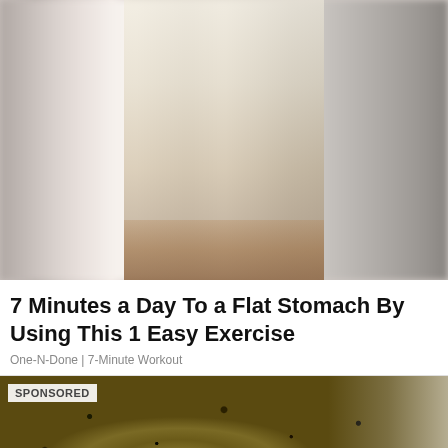[Figure (photo): Woman in workout clothes (sports bra and shorts) with arms raised above head, standing in a hallway with blurred background and wooden floor]
7 Minutes a Day To a Flat Stomach By Using This 1 Easy Exercise
One-N-Done | 7-Minute Workout
[Figure (photo): Close-up photo of a food item (appears to be a cracker or flatbread) covered in seeds and herbs, held in hand. SPONSORED label in top-left corner.]